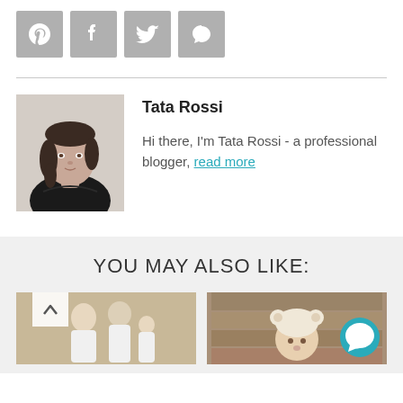[Figure (other): Four social media icons (Pinterest, Facebook, Twitter, Chat/comment) as gray square buttons]
[Figure (photo): Profile photo of Tata Rossi, a woman with dark hair wearing a black top]
Tata Rossi
Hi there, I'm Tata Rossi - a professional blogger, read more
YOU MAY ALSO LIKE:
[Figure (photo): Family photo showing a man, woman, and small child in white clothing]
[Figure (photo): Baby wearing a white knitted bear hat]